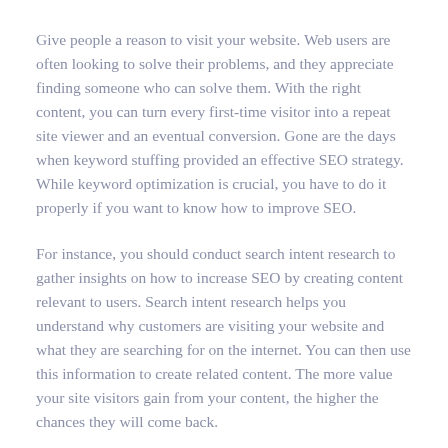Give people a reason to visit your website. Web users are often looking to solve their problems, and they appreciate finding someone who can solve them. With the right content, you can turn every first-time visitor into a repeat site viewer and an eventual conversion. Gone are the days when keyword stuffing provided an effective SEO strategy. While keyword optimization is crucial, you have to do it properly if you want to know how to improve SEO.
For instance, you should conduct search intent research to gather insights on how to increase SEO by creating content relevant to users. Search intent research helps you understand why customers are visiting your website and what they are searching for on the internet. You can then use this information to create related content. The more value your site visitors gain from your content, the higher the chances they will come back.
You should also consider diversifying the kind of content you post on your site. You